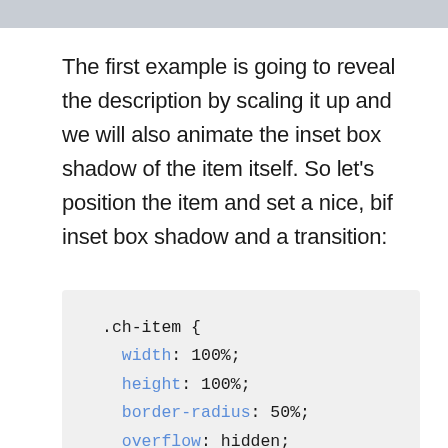[Figure (screenshot): Top image strip, grey gradient banner]
The first example is going to reveal the description by scaling it up and we will also animate the inset box shadow of the item itself. So let's position the item and set a nice, bif inset box shadow and a transition:
.ch-item {
  width: 100%;
  height: 100%;
  border-radius: 50%;
  overflow: hidden;
  position: relative;
  cursor: default;